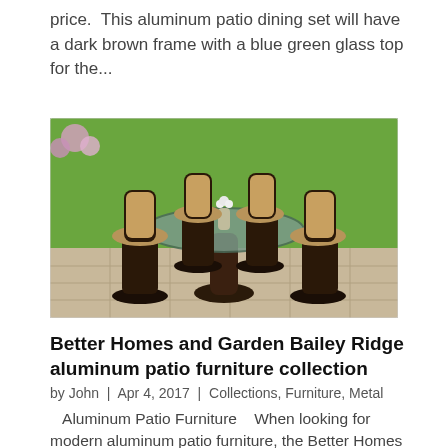price.  This aluminum patio dining set will have a dark brown frame with a blue green glass top for the...
[Figure (photo): Outdoor patio dining set with four cushioned swivel chairs around a round pedestal table with a glass top, placed on a stone patio with green lawn and flowers in the background.]
Better Homes and Garden Bailey Ridge aluminum patio furniture collection
by John | Apr 4, 2017 | Collections, Furniture, Metal
Aluminum Patio Furniture    When looking for modern aluminum patio furniture, the Better Homes